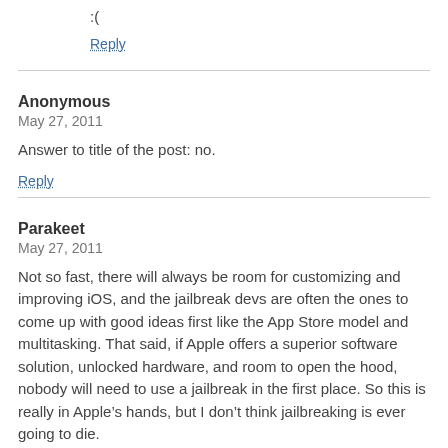:(
Reply
Anonymous
May 27, 2011
Answer to title of the post: no.
Reply
Parakeet
May 27, 2011
Not so fast, there will always be room for customizing and improving iOS, and the jailbreak devs are often the ones to come up with good ideas first like the App Store model and multitasking. That said, if Apple offers a superior software solution, unlocked hardware, and room to open the hood, nobody will need to use a jailbreak in the first place. So this is really in Apple’s hands, but I don’t think jailbreaking is ever going to die.
Reply